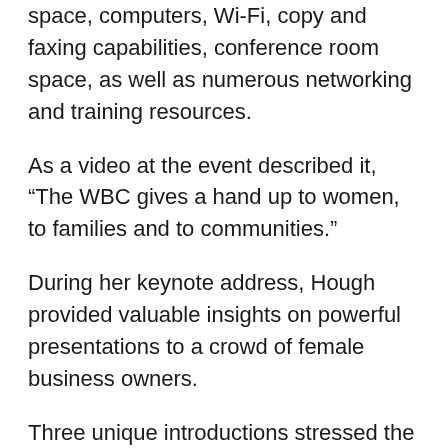space, computers, Wi-Fi, copy and faxing capabilities, conference room space, as well as numerous networking and training resources.
As a video at the event described it, “The WBC gives a hand up to women, to families and to communities.”
During her keynote address, Hough provided valuable insights on powerful presentations to a crowd of female business owners.
Three unique introductions stressed the importance of a first impression and Hough’s first point that people assess others in about seven to 30 seconds. She discussed perception and the importance of confidence.
“We can control our confidence level more than we realize,” Hough said, describing body language and other techniques